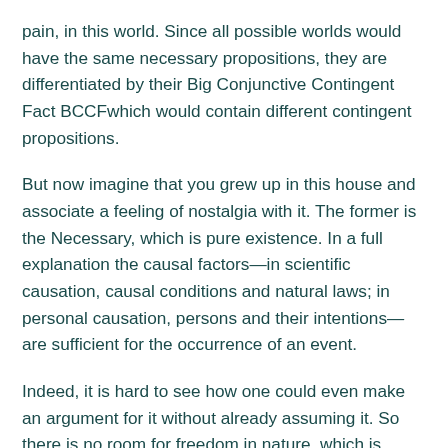pain, in this world. Since all possible worlds would have the same necessary propositions, they are differentiated by their Big Conjunctive Contingent Fact BCCFwhich would contain different contingent propositions.
But now imagine that you grew up in this house and associate a feeling of nostalgia with it. The former is the Necessary, which is pure existence. In a full explanation the causal factors—in scientific causation, causal conditions and natural laws; in personal causation, persons and their intentions— are sufficient for the occurrence of an event.
Indeed, it is hard to see how one could even make an argument for it without already assuming it. So there is no room for freedom in nature, which is deterministic in a strong sense. Immediately after this, however, Philo proceeds to reverse his reversal i.